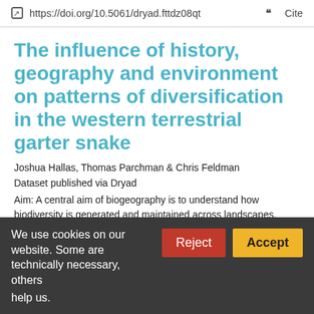https://doi.org/10.5061/dryad.fttdz08qt  Cite
The influence of history, geography and environment on patterns of diversification in the western terrestrial garter snake
Joshua Hallas, Thomas Parchman & Chris Feldman
Dataset published via Dryad
Aim: A central aim of biogeography is to understand how biodiversity is generated and maintained across landscapes. Here, we establish phylogenetic and population genetic patterns in a widespread reptile to
We use cookies on our website. Some are technically necessary, others
Reject  Accept